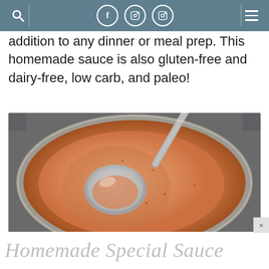Navigation bar with search, Facebook, Pinterest, Instagram icons and hamburger menu
addition to any dinner or meal prep. This homemade sauce is also gluten-free and dairy-free, low carb, and paleo!
[Figure (photo): Overhead close-up view of a creamy orange-pink homemade special sauce in a glass jar with a metal spoon resting in it]
Homemade Special Sauce